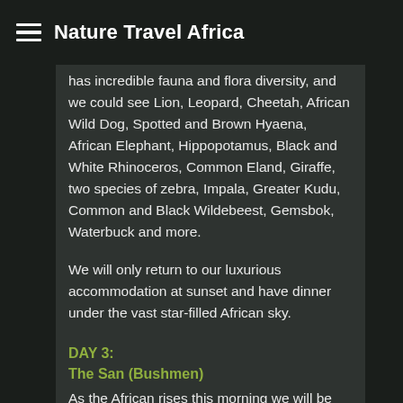Nature Travel Africa
has incredible fauna and flora diversity, and we could see Lion, Leopard, Cheetah, African Wild Dog, Spotted and Brown Hyaena, African Elephant, Hippopotamus, Black and White Rhinoceros, Common Eland, Giraffe, two species of zebra, Impala, Greater Kudu, Common and Black Wildebeest, Gemsbok, Waterbuck and more.
We will only return to our luxurious accommodation at sunset and have dinner under the vast star-filled African sky.
DAY 3:
The San (Bushmen)
As the African rises this morning we will be